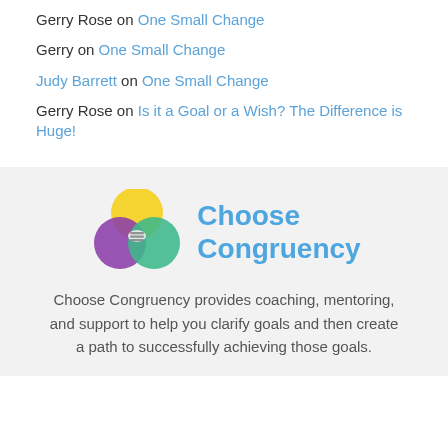Gerry Rose on One Small Change
Gerry on One Small Change
Judy Barrett on One Small Change
Gerry Rose on Is it a Goal or a Wish? The Difference is Huge!
[Figure (logo): Choose Congruency logo: three overlapping circles in yellow, purple, and green with a small icon in the center, beside bold blue text reading 'Choose Congruency']
Choose Congruency provides coaching, mentoring, and support to help you clarify goals and then create a path to successfully achieving those goals.